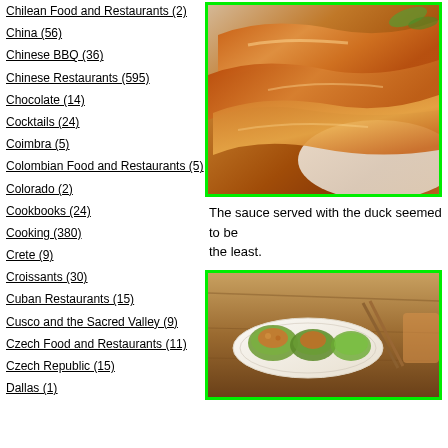Chilean Food and Restaurants (2)
China (56)
Chinese BBQ (36)
Chinese Restaurants (595)
Chocolate (14)
Cocktails (24)
Coimbra (5)
Colombian Food and Restaurants (5)
Colorado (2)
Cookbooks (24)
Cooking (380)
Crete (9)
Croissants (30)
Cuban Restaurants (15)
Cusco and the Sacred Valley (9)
Czech Food and Restaurants (11)
Czech Republic (15)
Dallas (1)
[Figure (photo): Close-up photo of glazed duck skin pieces with a shiny, caramelized brown surface, with green garnish visible in the background]
The sauce served with the duck seemed to be... the least.
[Figure (photo): Photo of a dish served in lettuce wraps on a white plate, placed on a wooden table with chopsticks]